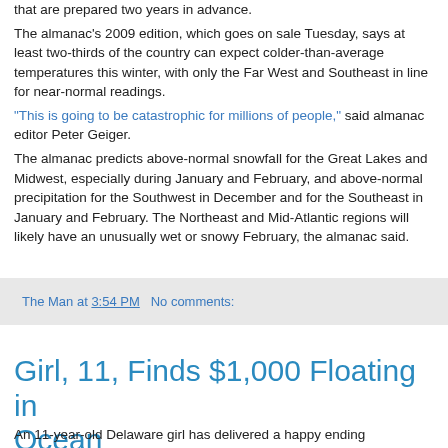that are prepared two years in advance. The almanac's 2009 edition, which goes on sale Tuesday, says at least two-thirds of the country can expect colder-than-average temperatures this winter, with only the Far West and Southeast in line for near-normal readings. "This is going to be catastrophic for millions of people," said almanac editor Peter Geiger. The almanac predicts above-normal snowfall for the Great Lakes and Midwest, especially during January and February, and above-normal precipitation for the Southwest in December and for the Southeast in January and February. The Northeast and Mid-Atlantic regions will likely have an unusually wet or snowy February, the almanac said.
The Man at 3:54 PM   No comments:
Girl, 11, Finds $1,000 Floating in Ocean
An 11-year-old Delaware girl has delivered a happy ending